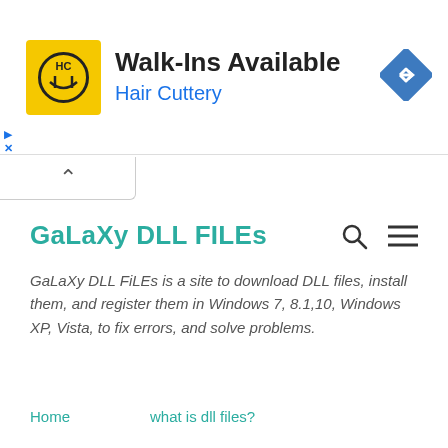[Figure (advertisement): Hair Cuttery advertisement banner with logo, Walk-Ins Available text, and navigation icon]
GaLaXy DLL FILEs
GaLaXy DLL FiLEs is a site to download DLL files, install them, and register them in Windows 7, 8.1,10, Windows XP, Vista, to fix errors, and solve problems.
Home
what is dll files?